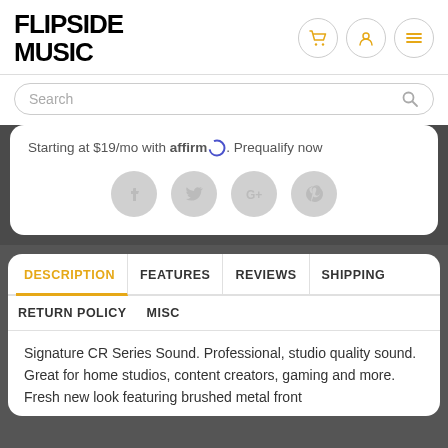FLIPSIDE MUSIC
Starting at $19/mo with affirm. Prequalify now
[Figure (other): Social share icons: Facebook, Twitter, Google+, Pinterest]
DESCRIPTION | FEATURES | REVIEWS | SHIPPING | RETURN POLICY | MISC
Signature CR Series Sound. Professional, studio quality sound. Great for home studios, content creators, gaming and more. Fresh new look featuring brushed metal front